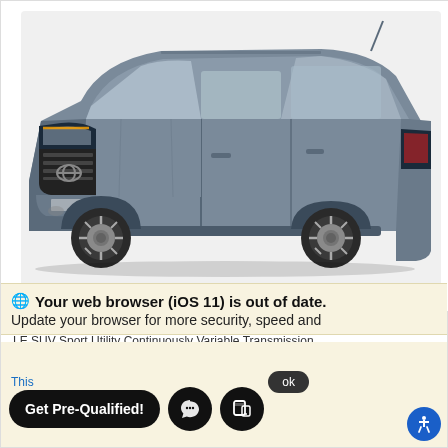[Figure (photo): Gray 2022 Toyota Corolla Cross AWD LE SUV viewed from front-left angle on white background]
New 2022 Toyota Corolla Cross AWD LE
LE SUV Sport Utility Continuously Variable Transmission
Call Us
🌐 Your web browser (iOS 11) is out of date.
Update your browser for more security, speed and
This
Get Pre-Qualified!